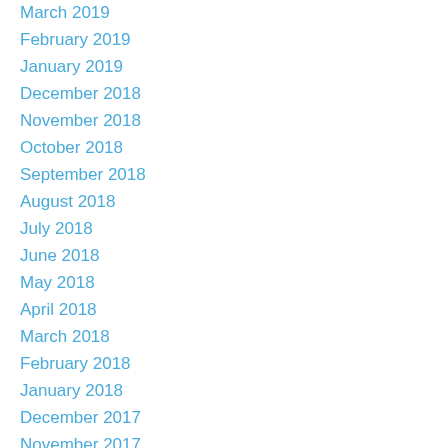March 2019
February 2019
January 2019
December 2018
November 2018
October 2018
September 2018
August 2018
July 2018
June 2018
May 2018
April 2018
March 2018
February 2018
January 2018
December 2017
November 2017
October 2017
September 2017
August 2017